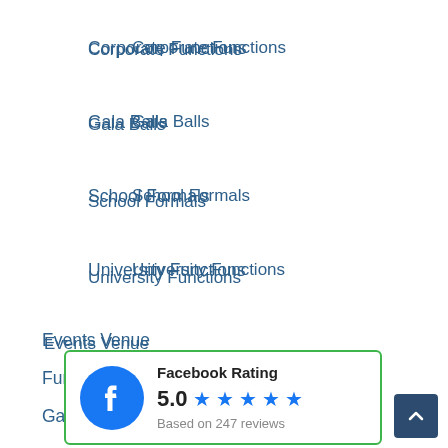Corporate Functions
Gala Balls
School Formals
University Functions
Events Venue
Function Room Facility
Gala Ball Dinner Venue
Gallery
Indian Wedding Venue Melbourne
Middle Eastern Wedding Venue
O[bscured]
O[bscured]
Privacy Policy
[Figure (infographic): Facebook Rating popup showing 5.0 stars based on 247 reviews, with blue Facebook logo]